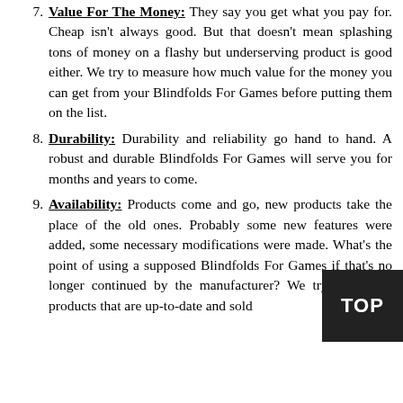7. Value For The Money: They say you get what you pay for. Cheap isn't always good. But that doesn't mean splashing tons of money on a flashy but underserving product is good either. We try to measure how much value for the money you can get from your Blindfolds For Games before putting them on the list.
8. Durability: Durability and reliability go hand to hand. A robust and durable Blindfolds For Games will serve you for months and years to come.
9. Availability: Products come and go, new products take the place of the old ones. Probably some new features were added, some necessary modifications were made. What's the point of using a supposed Blindfolds For Games if that's no longer continued by the manufacturer? We try to feature products that are up-to-date and sold